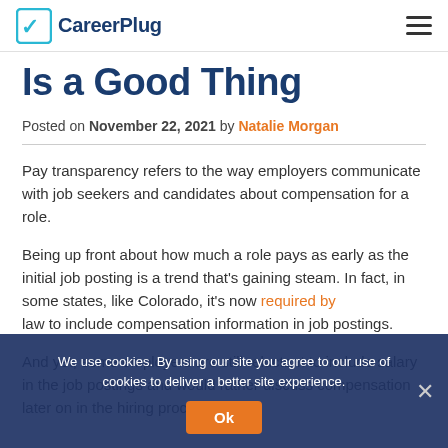CareerPlug
Is a Good Thing
Posted on November 22, 2021 by Natalie Morgan
Pay transparency refers to the way employers communicate with job seekers and candidates about compensation for a role.
Being up front about how much a role pays as early as the initial job posting is a trend that's gaining steam. In fact, in some states, like Colorado, it's now required by law to include compensation information in job postings.
And yet, some employers are still reluctant to include salary in the job postings and would rather discuss compensation later on in the hiring process.
We use cookies. By using our site you agree to our use of cookies to deliver a better site experience.